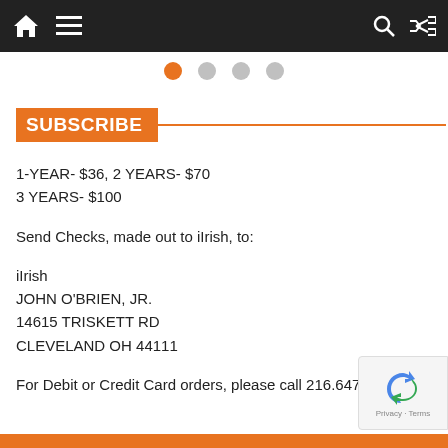Navigation bar with home, menu, search, and shuffle icons
[Figure (other): Pagination indicator dots: one orange active dot followed by three grey inactive dots]
SUBSCRIBE
1-YEAR- $36, 2 YEARS- $70
3 YEARS- $100
Send Checks, made out to iIrish, to:
iIrish
JOHN O'BRIEN, JR.
14615 TRISKETT RD
CLEVELAND OH 44111
For Debit or Credit Card orders, please call 216.647.1144
[Figure (other): reCAPTCHA badge showing Privacy and Terms links]